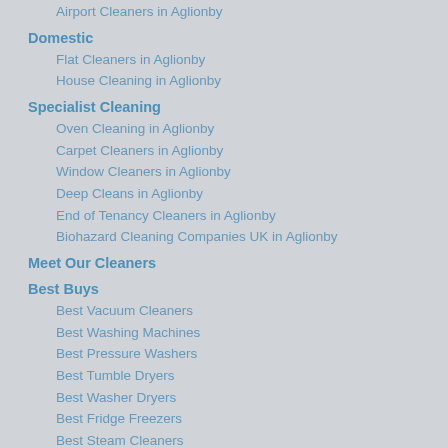Airport Cleaners in Aglionby
Domestic
Flat Cleaners in Aglionby
House Cleaning in Aglionby
Specialist Cleaning
Oven Cleaning in Aglionby
Carpet Cleaners in Aglionby
Window Cleaners in Aglionby
Deep Cleans in Aglionby
End of Tenancy Cleaners in Aglionby
Biohazard Cleaning Companies UK in Aglionby
Meet Our Cleaners
Best Buys
Best Vacuum Cleaners
Best Washing Machines
Best Pressure Washers
Best Tumble Dryers
Best Washer Dryers
Best Fridge Freezers
Best Steam Cleaners
Best Dishwashers
Best Air Purifiers